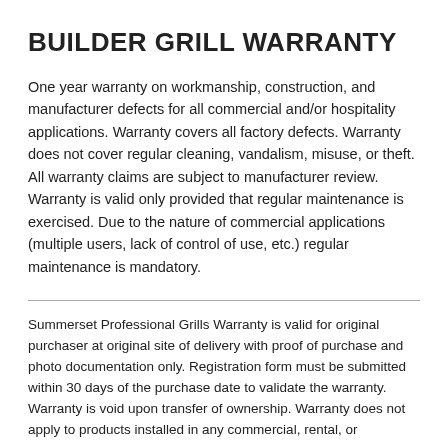BUILDER GRILL WARRANTY
One year warranty on workmanship, construction, and manufacturer defects for all commercial and/or hospitality applications. Warranty covers all factory defects. Warranty does not cover regular cleaning, vandalism, misuse, or theft. All warranty claims are subject to manufacturer review. Warranty is valid only provided that regular maintenance is exercised. Due to the nature of commercial applications (multiple users, lack of control of use, etc.) regular maintenance is mandatory.
Summerset Professional Grills Warranty is valid for original purchaser at original site of delivery with proof of purchase and photo documentation only. Registration form must be submitted within 30 days of the purchase date to validate the warranty. Warranty is void upon transfer of ownership. Warranty does not apply to products installed in any commercial, rental, or